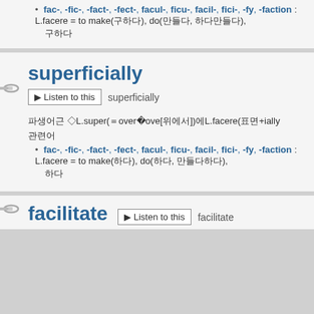fac-, -fic-, -fact-, -fect-, facul-, ficu-, facil-, fici-, -fy, -faction : L.facere = to make(하다), do(하다, 만들다), 하다
superficially
Listen to this  superficially
파생어근 ◇L.super(=over=above[위에서])에L.facere(표면+ially
관련어
fac-, -fic-, -fact-, -fect-, facul-, ficu-, facil-, fici-, -fy, -faction : L.facere = to make(하다), do(하다, 만들다), 하다
facilitate
Listen to this  facilitate